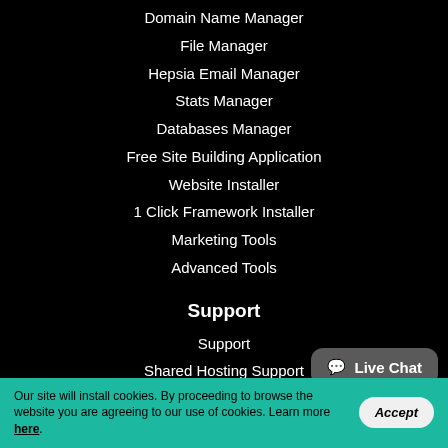Domain Name Manager
File Manager
Hepsia Email Manager
Stats Manager
Databases Manager
Free Site Building Application
Website Installer
1 Click Framework Installer
Marketing Tools
Advanced Tools
Support
Support
Shared Hosting Support
VPS Web Hosting Support
Semi-dedicated Hosting Support
Dedicated Servers Hosting Support
[Figure (other): Live Chat button bubble in dark gray with chat icon]
Our site will install cookies. By proceeding to browse the website you are agreeing to our use of cookies. Learn more here.